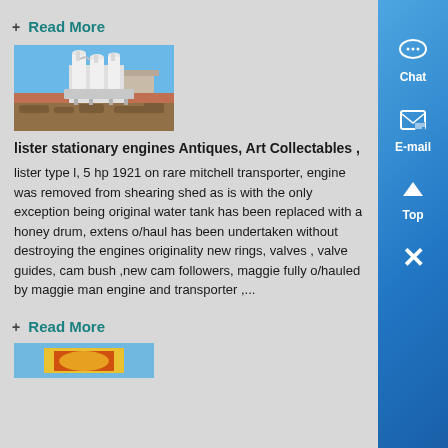+ Read More
[Figure (photo): Industrial machinery with white cylindrical silos/equipment on a dirt/rocky surface under a blue sky]
lister stationary engines Antiques, Art Collectables ,
lister type l, 5 hp 1921 on rare mitchell transporter, engine was removed from shearing shed as is with the only exception being original water tank has been replaced with a honey drum, extens o/haul has been undertaken without destroying the engines originality new rings, valves , valve guides, cam bush ,new cam followers, maggie fully o/hauled by maggie man engine and transporter ,...
+ Read More
[Figure (photo): Partial view of another item listing image at bottom of page]